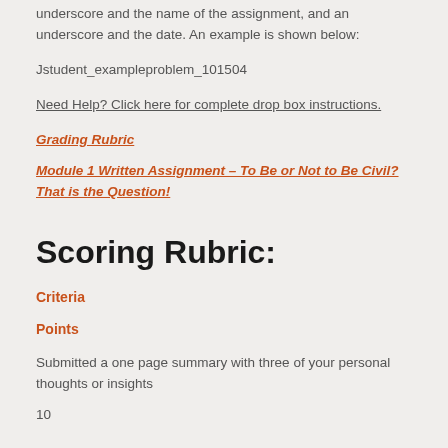underscore and the name of the assignment, and an underscore and the date. An example is shown below:
Jstudent_exampleproblem_101504
Need Help? Click here for complete drop box instructions.
Grading Rubric
Module 1 Written Assignment – To Be or Not to Be Civil? That is the Question!
Scoring Rubric:
Criteria
Points
Submitted a one page summary with three of your personal thoughts or insights
10